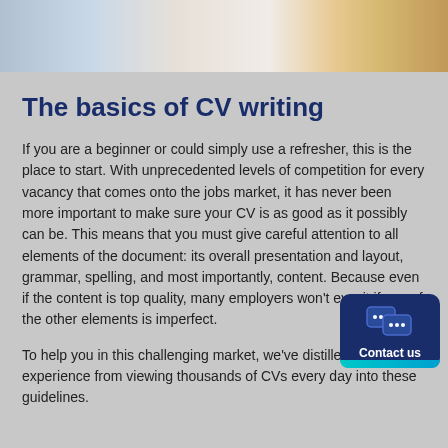[Figure (photo): Partial photo at top of page showing people working at a laptop with a yellow mug visible in the background]
The basics of CV writing
If you are a beginner or could simply use a refresher, this is the place to start. With unprecedented levels of competition for every vacancy that comes onto the jobs market, it has never been more important to make sure your CV is as good as it possibly can be. This means that you must give careful attention to all elements of the document: its overall presentation and layout, grammar, spelling, and most importantly, content. Because even if the content is top quality, many employers won't ev... it if any of the other elements is imperfect.
To help you in this challenging market, we've distilled our experience from viewing thousands of CVs every day into these guidelines.
[Figure (illustration): Contact us widget button in dark navy blue with chat bubble icons and teal bottom bar]